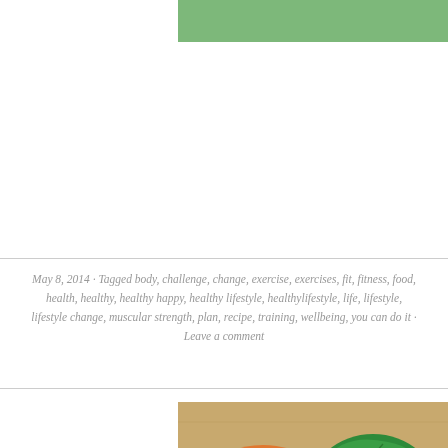[Figure (other): Green banner/header bar with sage green background color at top of page]
May 8, 2014 · Tagged body, challenge, change, exercise, exercises, fit, fitness, food, health, healthy, healthy happy, healthy lifestyle, healthylifestyle, life, lifestyle, lifestyle change, muscular strength, plan, recipe, training, wellbeing, you can do it · Leave a comment
[Figure (photo): Photo of diced orange carrots and a whole green lettuce/cabbage leaf on a wooden cutting board]